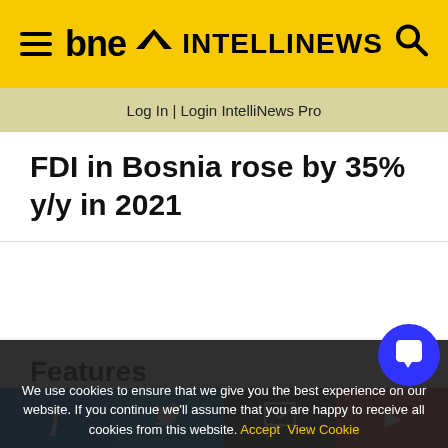bne INTELLINEWS
Log In | Login IntelliNews Pro
FDI in Bosnia rose by 35% y/y in 2021
Features
We use cookies to ensure that we give you the best experience on our website. If you continue we'll assume that you are happy to receive all cookies from this website. Accept  View Cookie